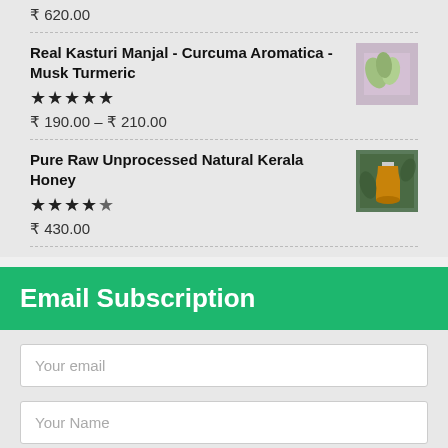₹ 620.00
Real Kasturi Manjal - Curcuma Aromatica - Musk Turmeric
★★★★★
₹ 190.00 – ₹ 210.00
[Figure (photo): Product image of Kasturi Manjal]
Pure Raw Unprocessed Natural Kerala Honey
★★★★½
₹ 430.00
[Figure (photo): Product image of Kerala Honey]
Email Subscription
Your email
Your Name
Subscribe now!